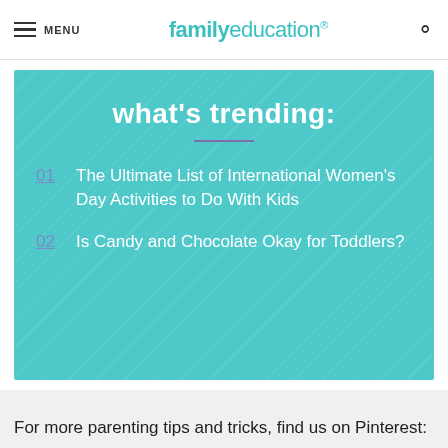MENU | familyeducation
what's trending:
01 The Ultimate List of International Women's Day Activities to Do With Kids
02 Is Candy and Chocolate Okay for Toddlers?
For more parenting tips and tricks, find us on Pinterest: